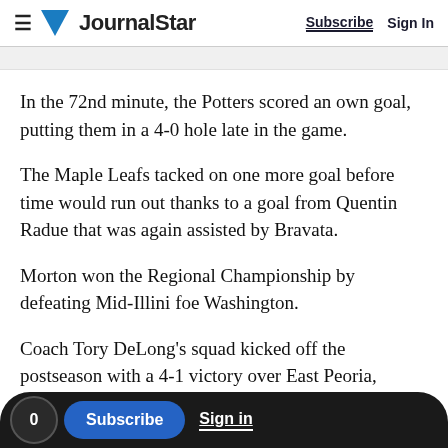≡ JournalStar  Subscribe  Sign In
In the 72nd minute, the Potters scored an own goal, putting them in a 4-0 hole late in the game.
The Maple Leafs tacked on one more goal before time would run out thanks to a goal from Quentin Radue that was again assisted by Bravata.
Morton won the Regional Championship by defeating Mid-Illini foe Washington.
Coach Tory DeLong's squad kicked off the postseason with a 4-1 victory over East Peoria,
0  Subscribe  Sign in